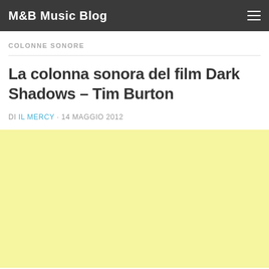M&B Music Blog
COLONNE SONORE
La colonna sonora del film Dark Shadows – Tim Burton
DI IL MERCY · 14 MAGGIO 2012
[Figure (other): Yellow advertisement or placeholder block]